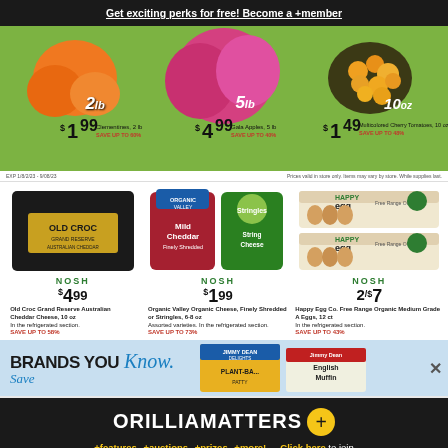Get exciting perks for free! Become a +member
[Figure (photo): Produce section showing clementines 2lb, gala apples 5lb, and multicolored cherry tomatoes 10oz on green background with prices]
Prices valid in store only. Items may vary by store. While supplies last.
[Figure (photo): Old Croc Grand Reserve Australian Cheddar Cheese 10oz block in black packaging]
NOSH
$4.99 Old Croc Grand Reserve Australian Cheddar Cheese, 10 oz In the refrigerated section. SAVE UP TO 58%
[Figure (photo): Organic Valley Mild Cheddar shredded cheese and Stringles string cheese packages]
NOSH
$1.99 Organic Valley Organic Cheese, Finely Shredded or Stringles, 6-8 oz Assorted varieties. In the refrigerated section. SAVE UP TO 73%
[Figure (photo): Happy Egg Co. Free Range Organic Medium Grade A Eggs cartons]
NOSH
2/$7 Happy Egg Co. Free Range Organic Medium Grade A Eggs, 12 ct In the refrigerated section. SAVE UP TO 43%
[Figure (photo): Brands You Know banner with Jimmy Dean plant-based patty and English muffin products]
[Figure (advertisement): OrilliaMAtters+ advertisement: ORILLIAMATTERS+ logo with features, auctions, prizes, more and Click here to join CTA]